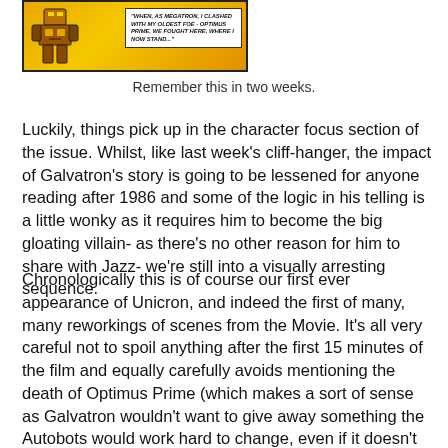[Figure (illustration): Comic panel showing a robot/transformer figure with a speech bubble reading: 'WHEN, AS MEGATRON, I CLASHED WITH MY OLDEST FOE - OPTIMUS PRIME, WE FOUGHT HERE, WHERE I NOW STAND...' against a yellow/orange background.]
Remember this in two weeks.
Luckily, things pick up in the character focus section of the issue. Whilst, like last week's cliff-hanger, the impact of Galvatron's story is going to be lessened for anyone reading after 1986 and some of the logic in his telling is a little wonky as it requires him to become the big gloating villain- as there's no other reason for him to share with Jazz- we're still into a visually arresting sequence.
Chronologically this is of course our first ever appearance of Unicron, and indeed the first of many, many reworkings of scenes from the Movie. It's all very careful not to spoil anything after the first 15 minutes of the film and equally carefully avoids mentioning the death of Optimus Prime (which makes a sort of sense as Galvatron wouldn't want to give away something the Autobots would work hard to change, even if it doesn't